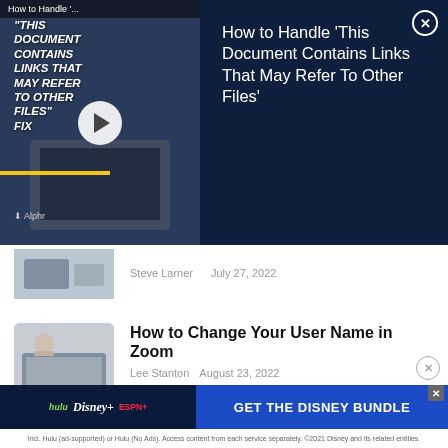[Figure (screenshot): Video ad overlay with dark navy background showing article title 'How to Handle This Document Contains Links That May Refer To Other Files' on the right, and a video thumbnail on the left with play button and text overlay.]
Steve Larner   July 27, 2022
[Figure (photo): Person working at desk with multiple monitors showing video call - thumbnail for Zoom article]
How to Change Your User Name in Zoom
Lee Stanton   August 23, 2022
[Figure (photo): Woman looking at laptop - thumbnail for Inspect Element article]
How to Use Inspect Element
Lee Stanton   August 16, 2022
[Figure (screenshot): Disney Bundle advertisement banner: hulu Disney+ ESPN+ GET THE DISNEY BUNDLE. Incl. Hulu (ad-supported) or Hulu (No Ads). Access content from each service separately. ©2021 Disney and its related entities.]